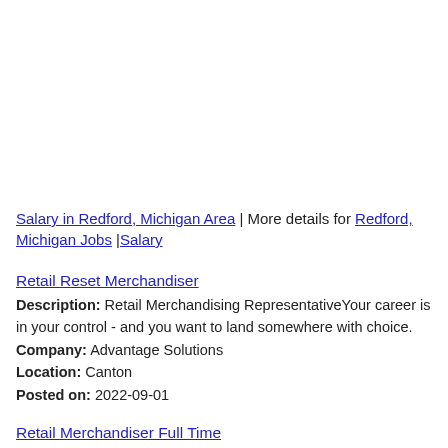Salary in Redford, Michigan Area | More details for Redford, Michigan Jobs |Salary
Retail Reset Merchandiser
Description: Retail Merchandising RepresentativeYour career is in your control - and you want to land somewhere with choice.
Company: Advantage Solutions
Location: Canton
Posted on: 2022-09-01
Retail Merchandiser Full Time
Description: Retail Merchandiser Full Time Location MI - SOUTHFIELD Are you tech-savvy and skilled at completing